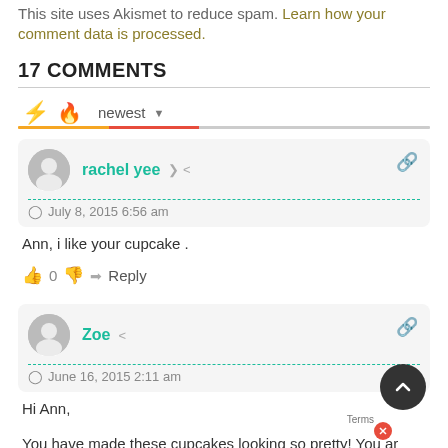This site uses Akismet to reduce spam. Learn how your comment data is processed.
17 COMMENTS
newest (sort option)
rachel yee — July 8, 2015 6:56 am
Ann, i like your cupcake .
0  Reply
Zoe — June 16, 2015 2:11 am
Hi Ann,
You have made these cupcakes looking so pretty! You are a talented baker and photographer.